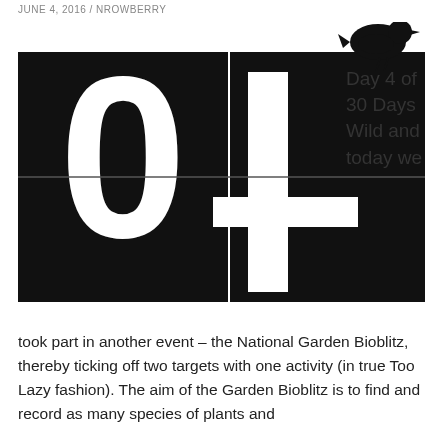JUNE 4, 2016 / NROWBERRY
[Figure (illustration): Black and white graphic showing large bold '04' text on a black square background with a black silhouette of a small bird perched on top of the number 4. Beside the image to the right is text reading 'Day 4 of 30 Days Wild and today we']
took part in another event – the National Garden Bioblitz, thereby ticking off two targets with one activity (in true Too Lazy fashion). The aim of the Garden Bioblitz is to find and record as many species of plants and